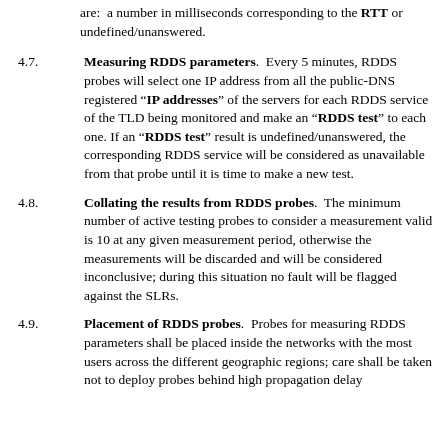are: a number in milliseconds corresponding to the RTT or undefined/unanswered.
4.7. Measuring RDDS parameters. Every 5 minutes, RDDS probes will select one IP address from all the public-DNS registered "IP addresses" of the servers for each RDDS service of the TLD being monitored and make an "RDDS test" to each one. If an "RDDS test" result is undefined/unanswered, the corresponding RDDS service will be considered as unavailable from that probe until it is time to make a new test.
4.8. Collating the results from RDDS probes. The minimum number of active testing probes to consider a measurement valid is 10 at any given measurement period, otherwise the measurements will be discarded and will be considered inconclusive; during this situation no fault will be flagged against the SLRs.
4.9. Placement of RDDS probes. Probes for measuring RDDS parameters shall be placed inside the networks with the most users across the different geographic regions; care shall be taken not to deploy probes behind high propagation delay...